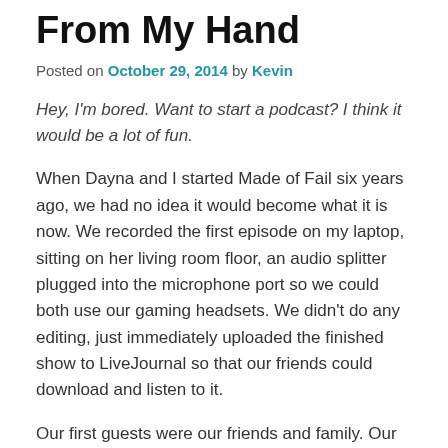From My Hand
Posted on October 29, 2014 by Kevin
Hey, I'm bored. Want to start a podcast? I think it would be a lot of fun.
When Dayna and I started Made of Fail six years ago, we had no idea it would become what it is now. We recorded the first episode on my laptop, sitting on her living room floor, an audio splitter plugged into the microphone port so we could both use our gaming headsets. We didn't do any editing, just immediately uploaded the finished show to LiveJournal so that our friends could download and listen to it.
Our first guests were our friends and family. Our first episodes were scattered and unfocused, as neither of us really knew what we were doing, but we learned as we went. We got better. We took advice. And through it all, we made new friends, gained new family.